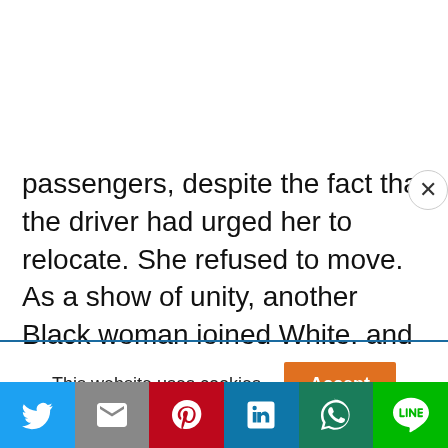passengers, despite the fact that the driver had urged her to relocate. She refused to move. As a show of unity, another Black woman joined White, and the two of them refused to move even after being threatened with arrest.
Advertisement
This website uses cookies.
[Figure (other): Social sharing buttons row: Twitter (blue), Gmail (gray), Pinterest (red), LinkedIn (blue), WhatsApp (dark green), LINE (green)]